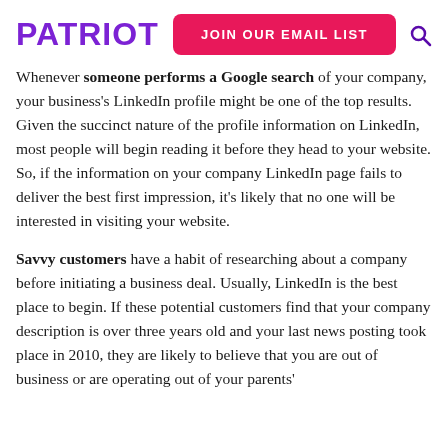PATRIOT | JOIN OUR EMAIL LIST
Whenever someone performs a Google search of your company, your business's LinkedIn profile might be one of the top results. Given the succinct nature of the profile information on LinkedIn, most people will begin reading it before they head to your website. So, if the information on your company LinkedIn page fails to deliver the best first impression, it's likely that no one will be interested in visiting your website.
Savvy customers have a habit of researching about a company before initiating a business deal. Usually, LinkedIn is the best place to begin. If these potential customers find that your company description is over three years old and your last news posting took place in 2010, they are likely to believe that you are out of business or are operating out of your parents'